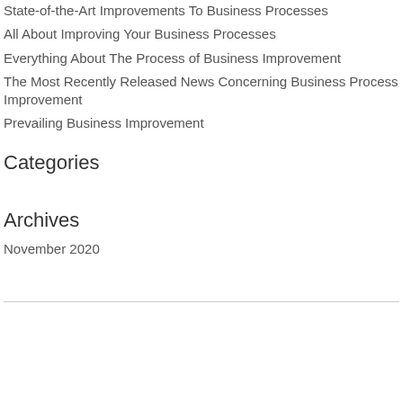State-of-the-Art Improvements To Business Processes
All About Improving Your Business Processes
Everything About The Process of Business Improvement
The Most Recently Released News Concerning Business Process Improvement
Prevailing Business Improvement
Categories
Archives
November 2020